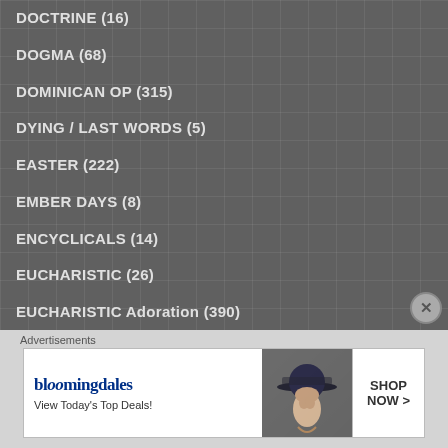DOCTRINE (16)
DOGMA (68)
DOMINICAN OP (315)
DYING / LAST WORDS (5)
EASTER (222)
EMBER DAYS (8)
ENCYCLICALS (14)
EUCHARISTIC (26)
EUCHARISTIC Adoration (390)
FATHERS of the Church (2,118)
FEASTS and SOLEMNITIES (976)
Advertisements
[Figure (other): Bloomingdale's advertisement banner: 'View Today's Top Deals!' with SHOP NOW button and model wearing a hat]